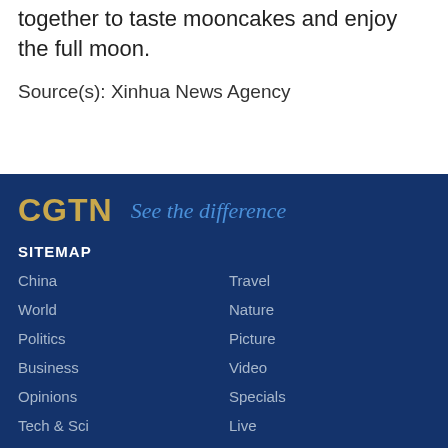together to taste mooncakes and enjoy the full moon.
Source(s): Xinhua News Agency
[Figure (logo): CGTN logo with gold bold text 'CGTN' and blue italic slogan 'See the difference' on dark navy background]
SITEMAP
China
Travel
World
Nature
Politics
Picture
Business
Video
Opinions
Specials
Tech & Sci
Live